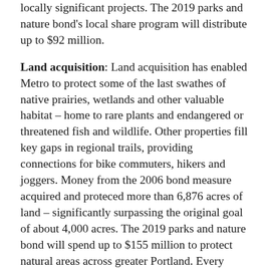locally significant projects. The 2019 parks and nature bond's local share program will distribute up to $92 million.
Land acquisition: Land acquisition has enabled Metro to protect some of the last swathes of native prairies, wetlands and other valuable habitat – home to rare plants and endangered or threatened fish and wildlife. Other properties fill key gaps in regional trails, providing connections for bike commuters, hikers and joggers. Money from the 2006 bond measure acquired and proteced more than 6,876 acres of land – significantly surpassing the original goal of about 4,000 acres. The 2019 parks and nature bond will spend up to $155 million to protect natural areas across greater Portland. Every property Metro buys is within one of 24 specific target areas set out in the 2019 parks and bond measure. Metro buys property at market rate and only from willing sellers.